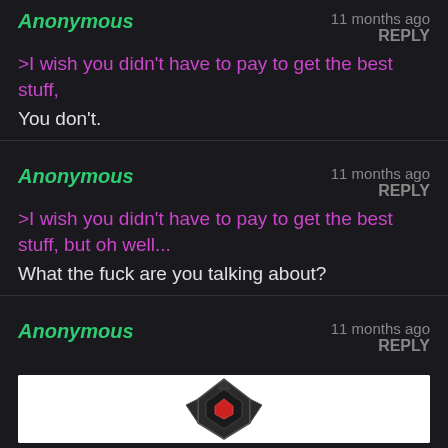Anonymous
11 months ago
REPLY
>I wish you didn't have to pay to get the best stuff,
You don't.
Anonymous
11 months ago
REPLY
>I wish you didn't have to pay to get the best stuff, but oh well...
What the fuck are you talking about?
Anonymous
11 months ago
REPLY
[Figure (illustration): A dark fantasy-style logo or emblem with a geometric diamond/star shape in dark grey and black tones, with a red diamond/gem in the center, on a white background.]